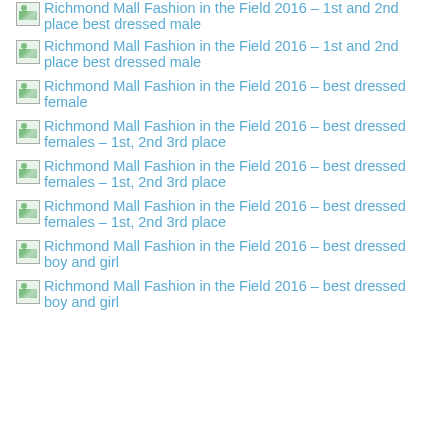[Figure (other): Broken image placeholder for Richmond Mall Fashion in the Field 2016 – 1st and 2nd place best dressed male (partial, top of page)]
[Figure (other): Broken image placeholder for Richmond Mall Fashion in the Field 2016 – 1st and 2nd place best dressed male]
[Figure (other): Broken image placeholder for Richmond Mall Fashion in the Field 2016 – best dressed female]
[Figure (other): Broken image placeholder for Richmond Mall Fashion in the Field 2016 – best dressed females – 1st, 2nd 3rd place (first)]
[Figure (other): Broken image placeholder for Richmond Mall Fashion in the Field 2016 – best dressed females – 1st, 2nd 3rd place (second)]
[Figure (other): Broken image placeholder for Richmond Mall Fashion in the Field 2016 – best dressed females – 1st, 2nd 3rd place (third)]
[Figure (other): Broken image placeholder for Richmond Mall Fashion in the Field 2016 – best dressed boy and girl (first)]
[Figure (other): Broken image placeholder for Richmond Mall Fashion in the Field 2016 – best dressed boy and girl (second, partial)]